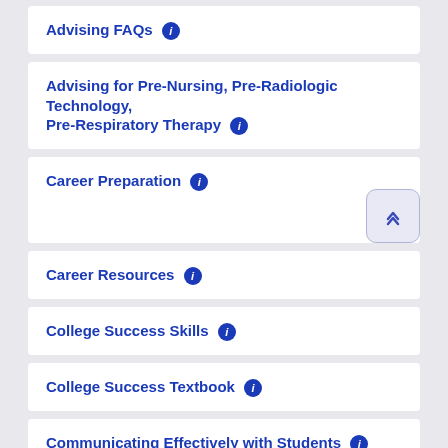Advising FAQs ℹ
Advising for Pre-Nursing, Pre-Radiologic Technology, Pre-Respiratory Therapy ℹ
Career Preparation ℹ
Career Resources ℹ
College Success Skills ℹ
College Success Textbook ℹ
Communicating Effectively with Students ℹ
Computer Skills Center C...